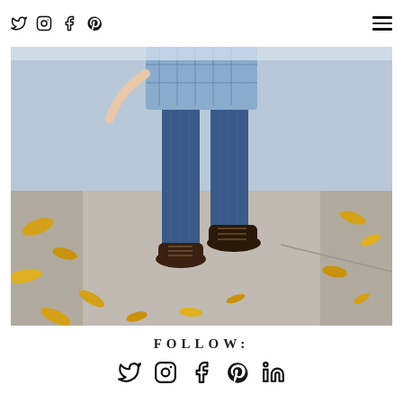Social media icons header with Twitter, Instagram, Facebook, Pinterest and hamburger menu
[Figure (photo): Close-up photo of a young child running on a sidewalk covered with fallen yellow autumn leaves. The child is wearing blue pinstripe overalls with suspenders, a plaid shirt, and dark brown lace-up boots. Only the lower body is visible.]
FOLLOW:
Social media follow icons: Twitter, Instagram, Facebook, Pinterest, LinkedIn